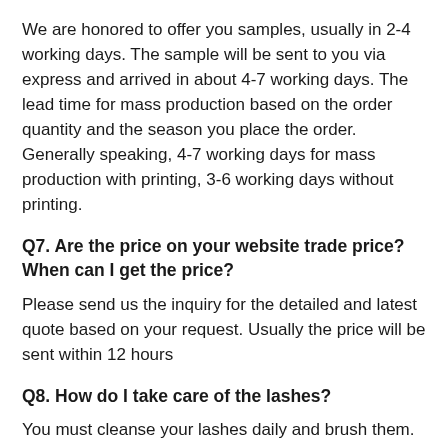We are honored to offer you samples, usually in 2-4 working days. The sample will be sent to you via express and arrived in about 4-7 working days. The lead time for mass production based on the order quantity and the season you place the order. Generally speaking, 4-7 working days for mass production with printing, 3-6 working days without printing.
Q7. Are the price on your website trade price? When can I get the price?
Please send us the inquiry for the detailed and latest quote based on your request. Usually the price will be sent within 12 hours
Q8. How do I take care of the lashes?
You must cleanse your lashes daily and brush them. We will provide you with a brush and gentle cleanser.